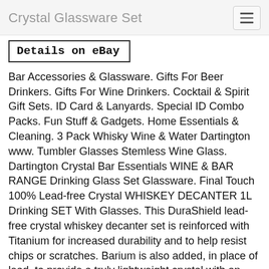Crystal Glassware Set
Details on eBay
Bar Accessories & Glassware. Gifts For Beer Drinkers. Gifts For Wine Drinkers. Cocktail & Spirit Gift Sets. ID Card & Lanyards. Special ID Combo Packs. Fun Stuff & Gadgets. Home Essentials & Cleaning. 3 Pack Whisky Wine & Water Dartington www. Tumbler Glasses Stemless Wine Glass. Dartington Crystal Bar Essentials WINE & BAR RANGE Drinking Glass Set Glassware. Final Touch 100% Lead-free Crystal WHISKEY DECANTER 1L Drinking SET With Glasses. This DuraShield lead-free crystal whiskey decanter set is reinforced with Titanium for increased durability and to help resist chips or scratches. Barium is also added, in place of lead, to provide a truly lightweight crystal with an elevated brilliance. Includes: 1 decanter, 1 decanter stopper 2 whiskey glasses Material: lead-free titanium reinforced